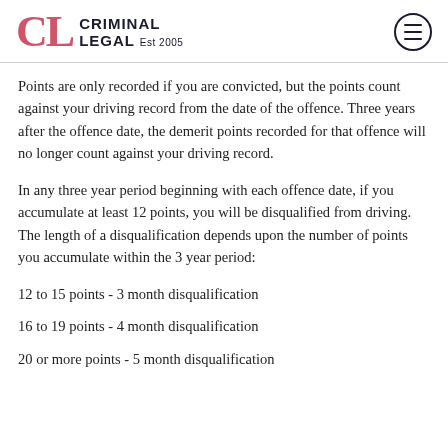CL CRIMINAL LEGAL Est 2005
Points are only recorded if you are convicted, but the points count against your driving record from the date of the offence. Three years after the offence date, the demerit points recorded for that offence will no longer count against your driving record.
In any three year period beginning with each offence date, if you accumulate at least 12 points, you will be disqualified from driving. The length of a disqualification depends upon the number of points you accumulate within the 3 year period:
12 to 15 points - 3 month disqualification
16 to 19 points - 4 month disqualification
20 or more points - 5 month disqualification